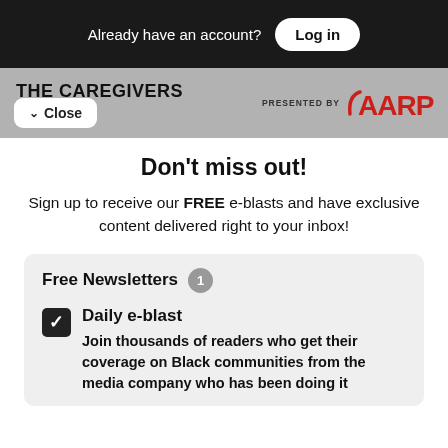Already have an account? Log in
THE CAREGIVERS
Close
PRESENTED BY AARP
Don't miss out!
Sign up to receive our FREE e-blasts and have exclusive content delivered right to your inbox!
Free Newsletters 1
Daily e-blast
Join thousands of readers who get their coverage on Black communities from the media company who has been doing it